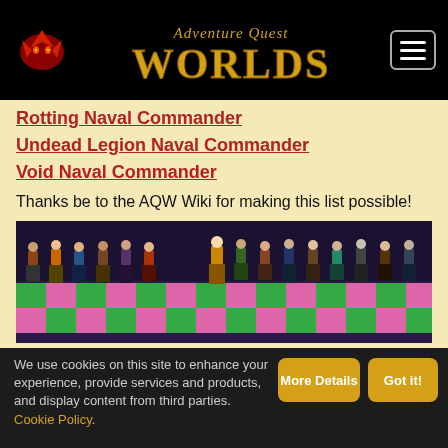AdventureQuest Worlds
Rotting Naval Commander
Undead Legion Naval Commander
Void Naval Commander
Thanks be to the AQW Wiki for making this list possible!
[Figure (screenshot): Screenshot from AdventureQuest Worlds game showing many Commander character models standing in a row on a colorful checkered floor.]
So many Commanders, yet no crew!
We use cookies on this site to enhance your experience, provide services and products, and display content from third parties. Cookie Policy.